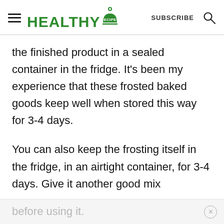≡ HEALTHY RECIPES   SUBSCRIBE   🔍
the finished product in a sealed container in the fridge. It's been my experience that these frosted baked goods keep well when stored this way for 3-4 days.
You can also keep the frosting itself in the fridge, in an airtight container, for 3-4 days. Give it another good mix
before using it.